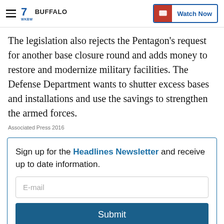WKBW Buffalo — Watch Now
The legislation also rejects the Pentagon's request for another base closure round and adds money to restore and modernize military facilities. The Defense Department wants to shutter excess bases and installations and use the savings to strengthen the armed forces.
Associated Press 2016
Sign up for the Headlines Newsletter and receive up to date information.
E-mail
Submit